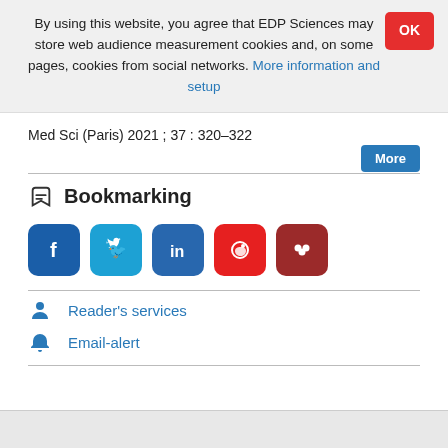By using this website, you agree that EDP Sciences may store web audience measurement cookies and, on some pages, cookies from social networks. More information and setup
Med Sci (Paris) 2021 ; 37 : 320–322
Bookmarking
[Figure (other): Social media sharing icons: Facebook (blue), Twitter (light blue), LinkedIn (blue), Weibo (red), Mendeley (dark red)]
Reader's services
Email-alert